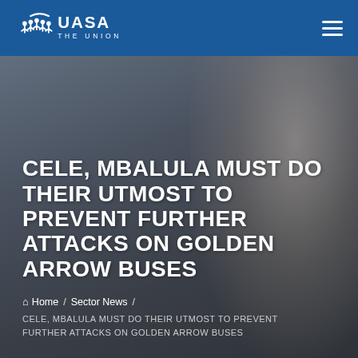[Figure (screenshot): UASA The Union website header with navigation bar containing UASA logo on left and hamburger menu on right, over a dark grey hero image background with a blurred figure]
CELE, MBALULA MUST DO THEIR UTMOST TO PREVENT FURTHER ATTACKS ON GOLDEN ARROW BUSES
Home / Sector News / CELE, MBALULA MUST DO THEIR UTMOST TO PREVENT FURTHER ATTACKS ON GOLDEN ARROW BUSES